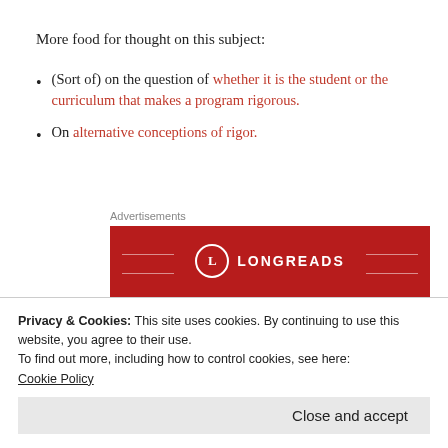More food for thought on this subject:
(Sort of) on the question of whether it is the student or the curriculum that makes a program rigorous.
On alternative conceptions of rigor.
[Figure (advertisement): Longreads advertisement banner with red background showing logo and tagline 'The best stories on the web – ours, and']
Privacy & Cookies: This site uses cookies. By continuing to use this website, you agree to their use.
To find out more, including how to control cookies, see here:
Cookie Policy
Close and accept